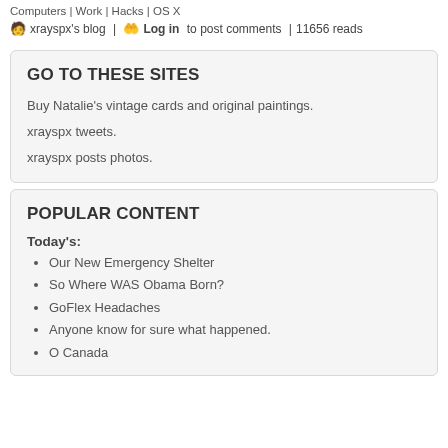Computers | Work | Hacks | OS X
🧑 xrayspx's blog  |  🤲 Log in  to post comments  |  11656 reads
GO TO THESE SITES
Buy Natalie's vintage cards and original paintings.
xrayspx tweets.
xrayspx posts photos.
POPULAR CONTENT
Today's:
Our New Emergency Shelter
So Where WAS Obama Born?
GoFlex Headaches
Anyone know for sure what happened.
O Canada